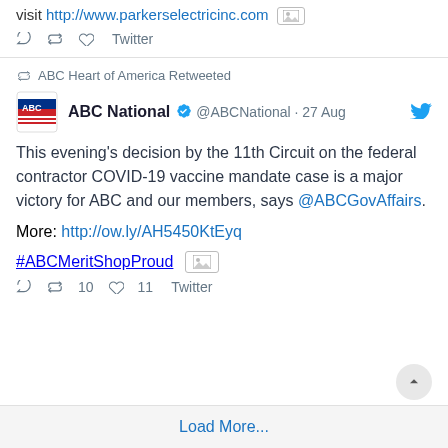visit http://www.parkerselectricinc.com [image icon]
tweet actions: reply, retweet, like, Twitter
↩ ABC Heart of America Retweeted
ABC National @ABCNational · 27 Aug
This evening's decision by the 11th Circuit on the federal contractor COVID-19 vaccine mandate case is a major victory for ABC and our members, says @ABCGovAffairs.
More: http://ow.ly/AH5450KtEyq
#ABCMeritShopProud [image icon]
reply, retweet 10, like 11, Twitter
Load More...